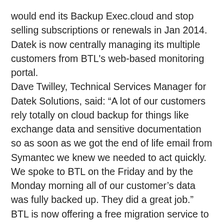would end its Backup Exec.cloud and stop selling subscriptions or renewals in Jan 2014. Datek is now centrally managing its multiple customers from BTL's web-based monitoring portal. Dave Twilley, Technical Services Manager for Datek Solutions, said: “A lot of our customers rely totally on cloud backup for things like exchange data and sensitive documentation so as soon as we got the end of life email from Symantec we knew we needed to act quickly. We spoke to BTL on the Friday and by the Monday morning all of our customer’s data was fully backed up. They did a great job.” BTL is now offering a free migration service to all Backup Exec.cloud customers. This will allow them to run BTL’s stable enterprise backup solution alongside the Symantec solution free of charge until the drop dead date of their contract.